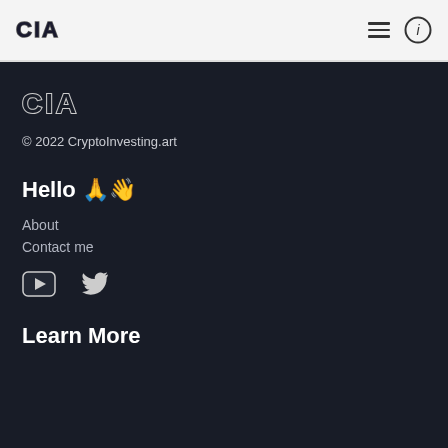CIA
[Figure (logo): CIA stylized logo in dark section with block letter styling]
© 2022 CryptoInvesting.art
Hello 🙏👋
About
Contact me
[Figure (illustration): YouTube and Twitter social media icons]
Learn More